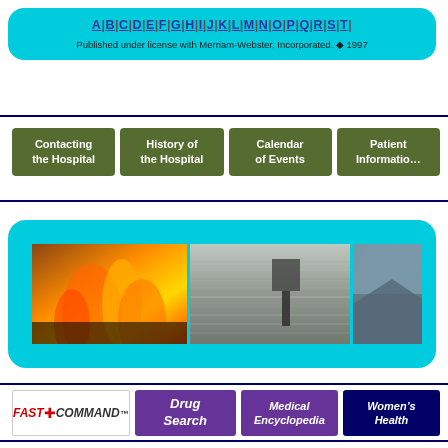[Figure (screenshot): Top cyan rounded banner with alphabetical navigation links A through T and license text 'Published under license with Merriam-Webster, Incorporated. © 1997']
[Figure (screenshot): Row of four olive/dark-green navigation buttons: 'Contacting the Hospital', 'History of the Hospital', 'Calendar of Events', 'Patient Information']
[Figure (screenshot): Middle cyan rounded banner containing a wide image strip with fire, water/ripple, and landscape photographs]
[Figure (screenshot): Bottom row of tool buttons: FastCommand logo, Drug Search (purple), Medical Encyclopedia (purple), Women's Health (dark blue)]